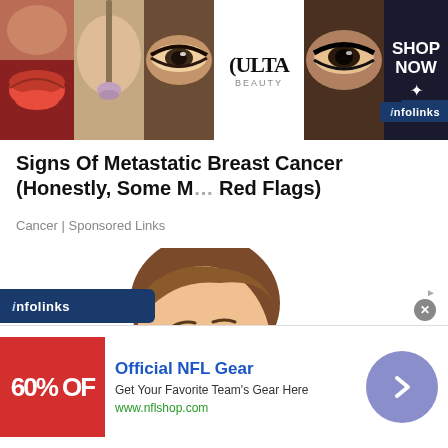[Figure (other): Top banner advertisement for ULTA Beauty showing beauty/makeup themed images: close-up of red lips, makeup brush, woman with eye shadow, ULTA Beauty logo, woman with dramatic eye makeup. Right side shows 'SHOP NOW' text with star symbol and infolinks logo.]
Signs Of Metastatic Breast Cancer (Honestly, Some Major Red Flags)
Cancer | Sponsored Links
[Figure (illustration): Cartoon illustration of a shirtless man scratching his back/shoulder area with a concerned facial expression. The man has brown hair and a skin rash or irritation visible on his back.]
[Figure (other): Bottom advertisement for Official NFL Gear showing a red banner with '60% OFF' text, NFL Gear title in blue, description text 'Get Your Favorite Team's Gear Here', URL 'www.nflshop.com', and a purple circular navigation arrow button. Also shows infolinks banner and close/adchoices buttons.]